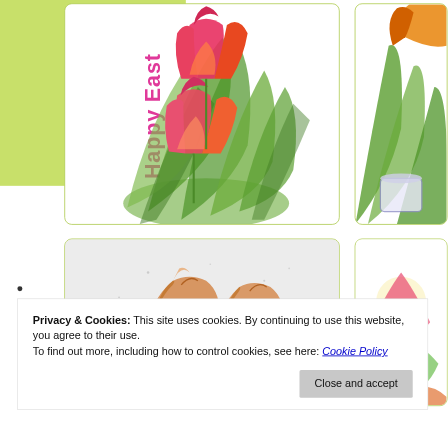[Figure (illustration): Easter greeting card grid layout on lime-green background. Top-left card shows watercolor tulip bouquet with 'Happy Easter' text rotated vertically in pink/magenta. Top-right card shows partial tulip/flower illustration. Bottom-left card shows watercolor onion bulb illustrations on light gray background. Bottom-right card partially visible with colorful floral/Easter illustration.]
Privacy & Cookies: This site uses cookies. By continuing to use this website, you agree to their use.
To find out more, including how to control cookies, see here: Cookie Policy
Close and accept